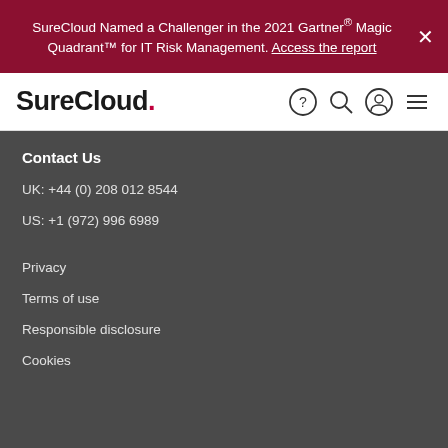SureCloud Named a Challenger in the 2021 Gartner® Magic Quadrant™ for IT Risk Management. Access the report
[Figure (logo): SureCloud logo with red period]
Contact Us
UK: +44 (0) 208 012 8544
US: +1 (972) 996 6989
Privacy
Terms of use
Responsible disclosure
Cookies